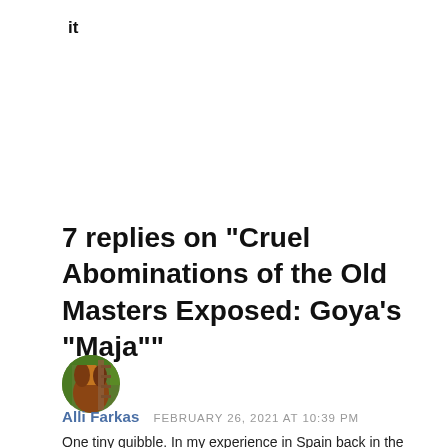it
7 replies on “Cruel Abominations of the Old Masters Exposed: Goya’s “Maja””
[Figure (photo): Circular avatar photo showing a person with reddish-brown hair outdoors with green and orange background]
Alli Farkas   FEBRUARY 26, 2021 AT 10:39 PM
One tiny quibble. In my experience in Spain back in the late